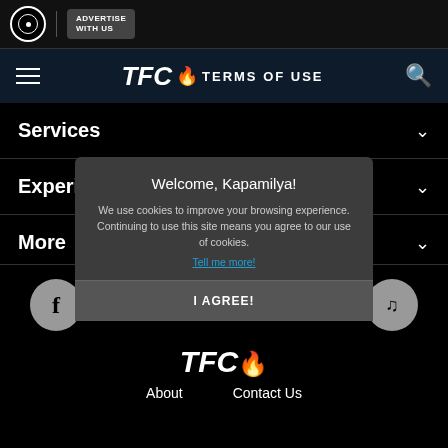TFC TERMS OF USE
Services
Experiences
More
[Figure (screenshot): Cookie consent modal dialog with title 'Welcome, Kapamilya!', cookie notice text, 'Tell me more!' link, and 'I AGREE!' button]
About   Contact Us